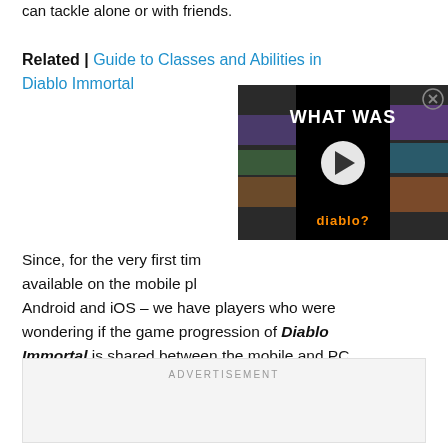can tackle alone or with friends.
Related | Guide to Classes and Abilities in Diablo Immortal
[Figure (screenshot): Video thumbnail overlay showing 'WHAT WAS' text with play button and 'diablo?' text at bottom, dark/collage background]
Since, for the very first time, Diablo is available on the mobile platforms – Android and iOS – we have players who were wondering if the game progression of Diablo Immortal is shared between the mobile and PC platforms or not?
ADVERTISEMENT